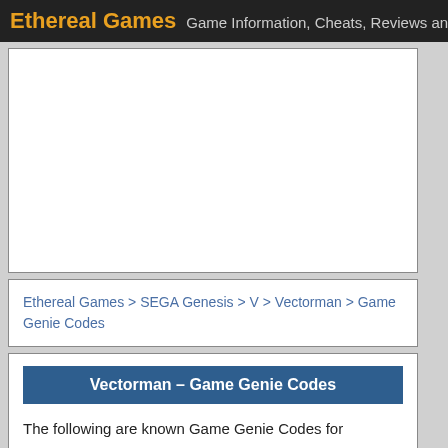Ethereal Games  Game Information, Cheats, Reviews and More!
[Figure (other): Advertisement placeholder box (white rectangle with border)]
Ethereal Games > SEGA Genesis > V > Vectorman > Game Genie Codes
Vectorman – Game Genie Codes
The following are known Game Genie Codes for Vectorman on SEGA Genesis.